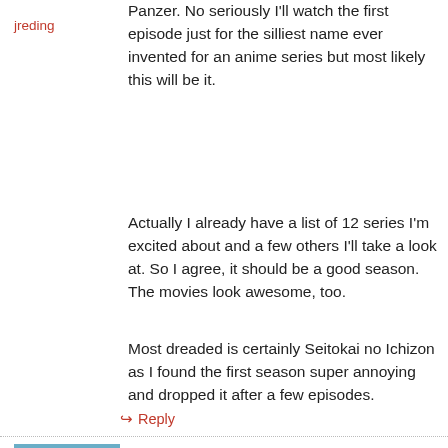jreding
Panzer. No seriously I'll watch the first episode just for the silliest name ever invented for an anime series but most likely this will be it.
Actually I already have a list of 12 series I'm excited about and a few others I'll take a look at. So I agree, it should be a good season. The movies look awesome, too.
Most dreaded is certainly Seitokai no Ichizon as I found the first season super annoying and dropped it after a few episodes.
↳ Reply
September 13, 2012 at 1:39 PM
[Figure (photo): Avatar image of a cartoon character resembling Patrick Star from SpongeBob SquarePants, pink starfish against blue background]